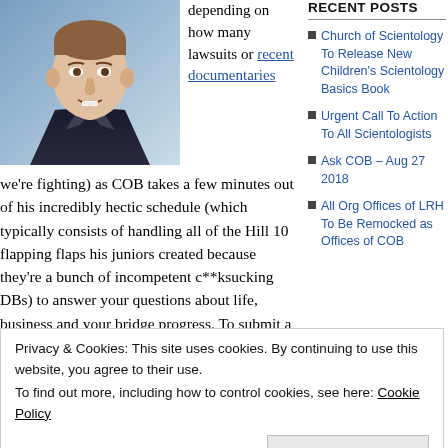[Figure (photo): Photo of a man in a dark suit with mouth open, speaking, against a light blue background]
depending on how many lawsuits or recent documentaries
we're fighting) as COB takes a few minutes out of his incredibly hectic schedule (which typically consists of handling all of the Hill 10 flapping flaps his juniors created because they're a bunch of incompetent c**ksucking DBs) to answer your questions about life, business and your bridge progress. To submit a question to his most holy and ecclesiastical sourciness please leave a comment below or
RECENT POSTS
Church of Scientology To Release New Children's Scientology Basics Book
Urgent Call To Action To All Scientologists
Ask COB – Aug 27 2018
All Org Offices of LRH To Be Remocked as Offices of COB
Privacy & Cookies: This site uses cookies. By continuing to use this website, you agree to their use.
To find out more, including how to control cookies, see here: Cookie Policy
Close and accept
Heber was exiled sent to Target 2 to help LRH